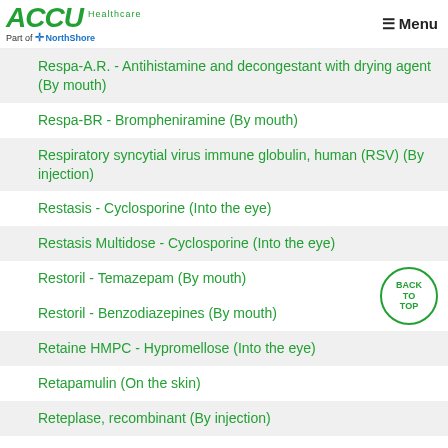ACCU Healthcare - Part of NorthShore | Menu
Respa-A.R. - Antihistamine and decongestant with drying agent (By mouth)
Respa-BR - Brompheniramine (By mouth)
Respiratory syncytial virus immune globulin, human (RSV) (By injection)
Restasis - Cyclosporine (Into the eye)
Restasis Multidose - Cyclosporine (Into the eye)
Restoril - Temazepam (By mouth)
Restoril - Benzodiazepines (By mouth)
Retaine HMPC - Hypromellose (Into the eye)
Retapamulin (On the skin)
Reteplase, recombinant (By injection)